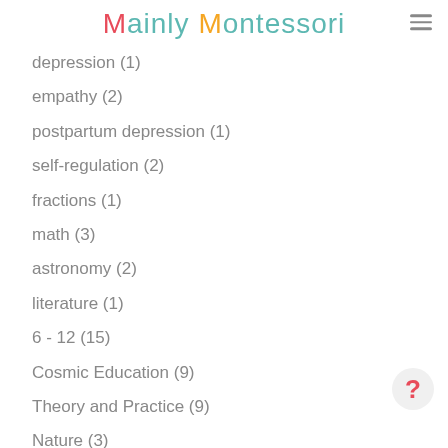Mainly Montessori
depression (1)
empathy (2)
postpartum depression (1)
self-regulation (2)
fractions (1)
math (3)
astronomy (2)
literature (1)
6 - 12 (15)
Cosmic Education (9)
Theory and Practice (9)
Nature (3)